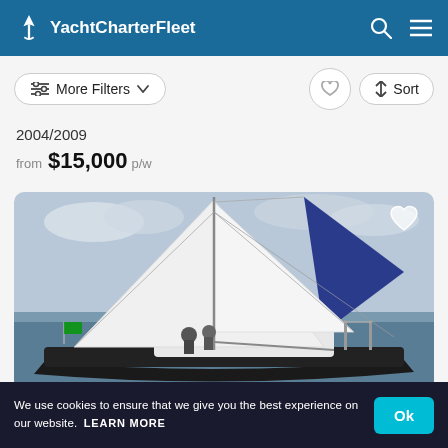YachtCharterFleet
More Filters
Sort
2004/2009
from $15,000 p/w
[Figure (photo): Sailing yacht under full sail with white and blue spinnaker, people on deck, dark hull, on open water with cloudy sky]
We use cookies to ensure that we give you the best experience on our website. LEARN MORE